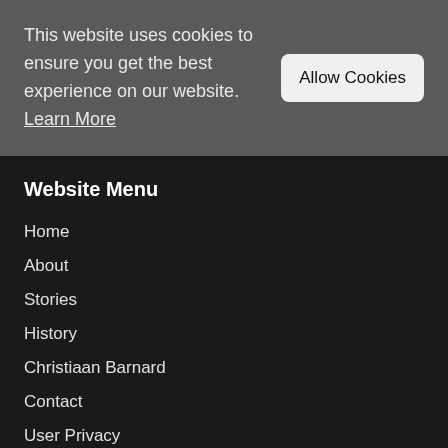This website uses cookies to ensure you get the best experience on our website. Learn More
Allow Cookies
Website Menu
Home
About
Stories
History
Christiaan Barnard
Contact
User Privacy
The Museum
The Research